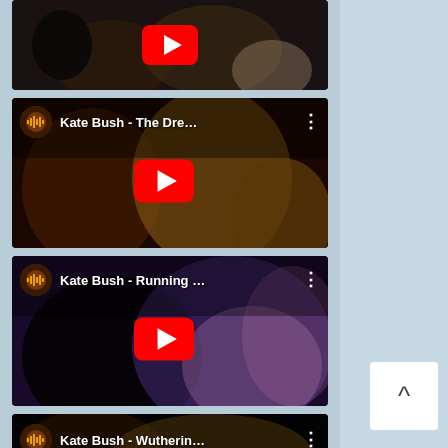[Figure (screenshot): YouTube video thumbnail 1 - dark background with play button, no title visible]
[Figure (screenshot): YouTube video thumbnail for 'Kate Bush - The Dre...' with play button and channel icon]
[Figure (screenshot): YouTube video thumbnail for 'Kate Bush - Running ...' with play button and channel icon, purple/blue tones]
[Figure (screenshot): YouTube video thumbnail for 'Kate Bush - Wutherin...' with channel icon, partially visible]